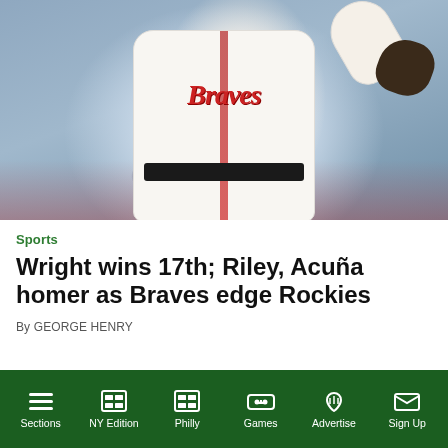[Figure (photo): Baseball pitcher in Atlanta Braves white uniform mid-pitch, arm raised, holding glove]
Sports
Wright wins 17th; Riley, Acuña homer as Braves edge Rockies
By GEORGE HENRY
Sections | NY Edition | Philly | Games | Advertise | Sign Up